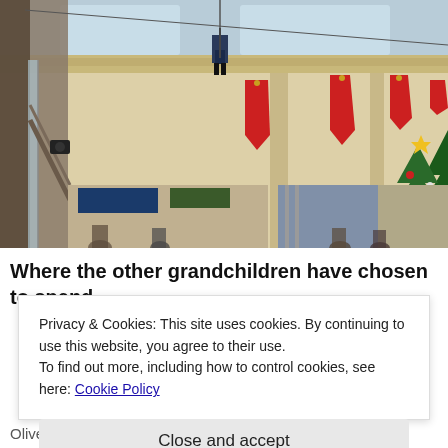[Figure (photo): Interior of a shopping mall during Christmas season. Red banners hang from the ceiling, a large decorated Christmas tree stands in the center. People are gathered below. A person appears suspended from the ceiling by a harness/zip line. Skylights visible above.]
Where the other grandchildren have chosen to spend
Privacy & Cookies: This site uses cookies. By continuing to use this website, you agree to their use.
To find out more, including how to control cookies, see here: Cookie Policy
Close and accept
Oliver prefers to do things, rather than purchase things.